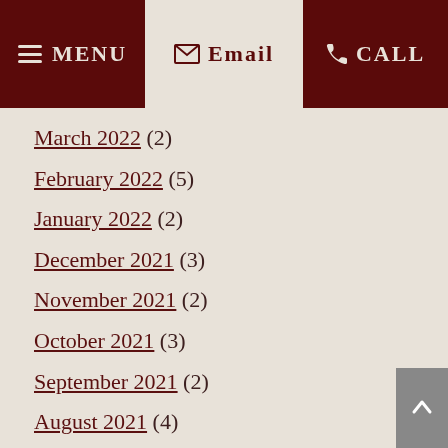MENU | Email | CALL
March 2022 (2)
February 2022 (5)
January 2022 (2)
December 2021 (3)
November 2021 (2)
October 2021 (3)
September 2021 (2)
August 2021 (4)
July 2021 (4)
June 2021 (2)
May 2021 (3)
April 2021 (4)